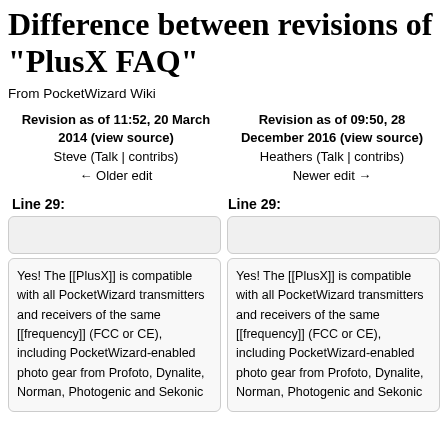Difference between revisions of "PlusX FAQ"
From PocketWizard Wiki
| Left | Right |
| --- | --- |
| Revision as of 11:52, 20 March 2014 (view source)
Steve (Talk | contribs)
← Older edit | Revision as of 09:50, 28 December 2016 (view source)
Heathers (Talk | contribs)
Newer edit → |
Line 29:
Line 29:
Yes! The [[PlusX]] is compatible with all PocketWizard transmitters and receivers of the same [[frequency]] (FCC or CE), including PocketWizard-enabled photo gear from Profoto, Dynalite, Norman, Photogenic and Sekonic
Yes! The [[PlusX]] is compatible with all PocketWizard transmitters and receivers of the same [[frequency]] (FCC or CE), including PocketWizard-enabled photo gear from Profoto, Dynalite, Norman, Photogenic and Sekonic